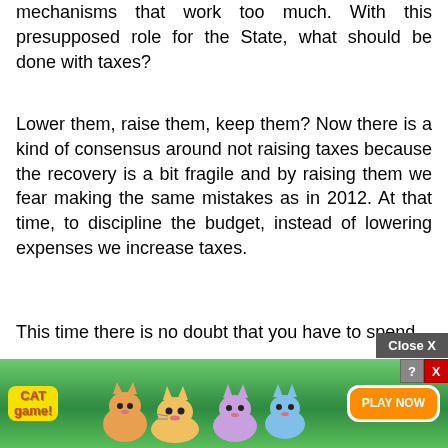mechanisms that work too much. With this presupposed role for the State, what should be done with taxes?
Lower them, raise them, keep them? Now there is a kind of consensus around not raising taxes because the recovery is a bit fragile and by raising them we fear making the same mistakes as in 2012. At that time, to discipline the budget, instead of lowering expenses we increase taxes.
This time there is no doubt that you have to spend,
but th[ad overlay]ow to spend[ad overlay]giving
[Figure (screenshot): Advertisement overlay for 'Cat Game' mobile app with a Close X button and a Play Now button, overlaying the bottom portion of the article text.]